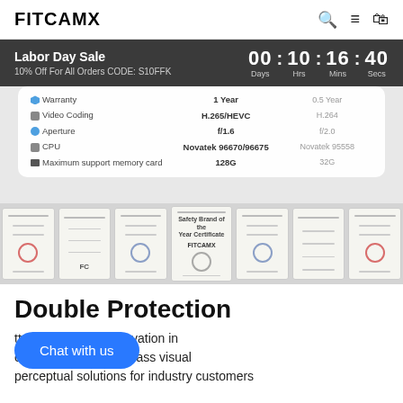FITCAMX
Labor Day Sale
10% Off For All Orders CODE: S10FFK
00 : 10 : 16 : 40
Days Hrs Mins Secs
[Figure (screenshot): Product comparison table showing specs: Warranty (1 Year vs 0.5 Year), Video Coding (H.265/HEVC vs H.264), Aperture (f/1.6 vs f/2.0), CPU (Novatek 96670/96675 vs Novatek 95558), Maximum support memory card (128G vs 32G), followed by a row of product certification documents]
Double Protection
tted to R&D and innovation in
eld, providing world-class visual
perceptual solutions for industry customers
Chat with us